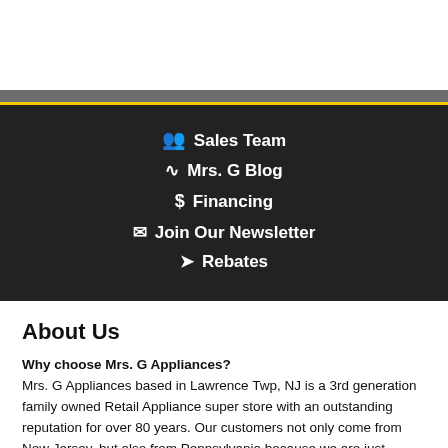Sales Team
Mrs. G Blog
Financing
Join Our Newsletter
Rebates
About Us
Why choose Mrs. G Appliances?
Mrs. G Appliances based in Lawrence Twp, NJ is a 3rd generation family owned Retail Appliance super store with an outstanding reputation for over 80 years. Our customers not only come from New Jersey, but also from Pennsylvania because we are just minutes away from the states' border. Our products are delivered